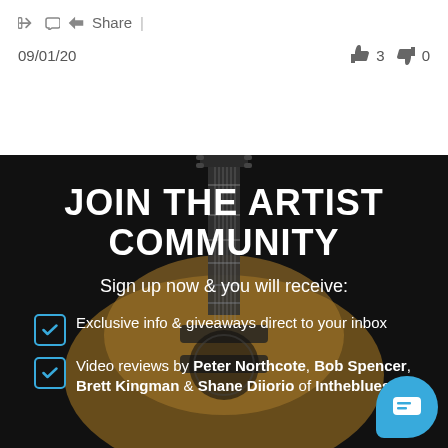Share |
09/01/20  👍 3  👎 0
JOIN THE ARTIST COMMUNITY
Sign up now & you will receive:
Exclusive info & giveaways direct to your inbox
Video reviews by Peter Northcote, Bob Spencer, Brett Kingman & Shane Diiorio of Intheblues